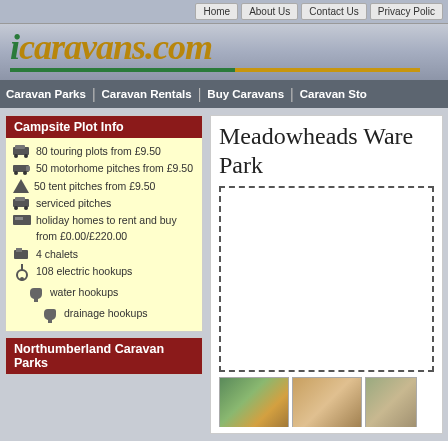Home | About Us | Contact Us | Privacy Policy
[Figure (logo): icaravans.com logo with green 'i' and gold italic text]
Caravan Parks | Caravan Rentals | Buy Caravans | Caravan Storage
Campsite Plot Info
80 touring plots from £9.50
50 motorhome pitches from £9.50
50 tent pitches from £9.50
serviced pitches
holiday homes to rent and buy from £0.00/£220.00
4 chalets
108 electric hookups
water hookups
drainage hookups
Northumberland Caravan Parks
Meadowheads Ware Park
[Figure (photo): Placeholder dashed box for main park photo]
[Figure (photo): Three thumbnail images of the caravan park]